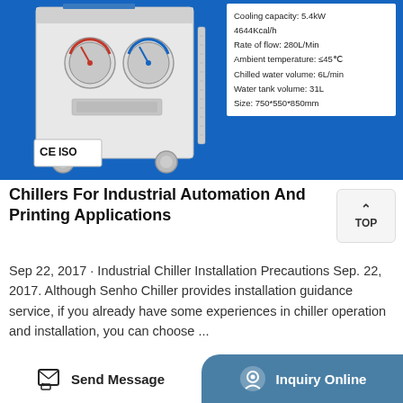[Figure (photo): Industrial chiller unit on wheels with gauges and CE/ISO certification marks shown against a blue background. White specs box on the right showing cooling capacity, flow rate, dimensions and other technical specifications.]
Chillers For Industrial Automation And Printing Applications
Sep 22, 2017 · Industrial Chiller Installation Precautions Sep. 22, 2017. Although Senho Chiller provides installation guidance service, if you already have some experiences in chiller operation and installation, you can choose ...